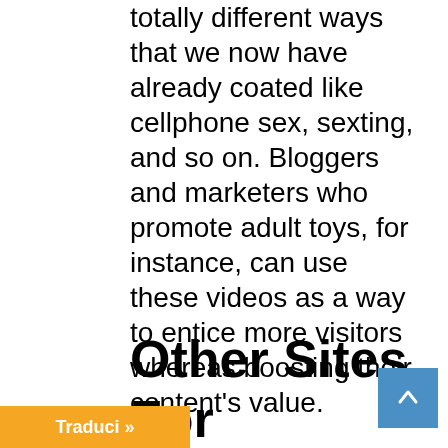totally different ways that we now have already coated like cellphone sex, sexting, and so on. Bloggers and marketers who promote adult toys, for instance, can use these videos as a way to entice more visitors whereas boosting their content's value.
Other Sites For